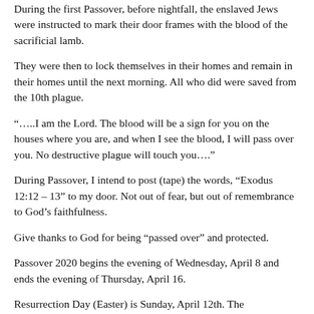During the first Passover, before nightfall, the enslaved Jews were instructed to mark their door frames with the blood of the sacrificial lamb.
They were then to lock themselves in their homes and remain in their homes until the next morning. All who did were saved from the 10th plague.
“…..I am the Lord. The blood will be a sign for you on the houses where you are, and when I see the blood, I will pass over you. No destructive plague will touch you….”
During Passover, I intend to post (tape) the words, “Exodus 12:12 – 13” to my door. Not out of fear, but out of remembrance to God’s faithfulness.
Give thanks to God for being “passed over” and protected.
Passover 2020 begins the evening of Wednesday, April 8 and ends the evening of Thursday, April 16.
Resurrection Day (Easter) is Sunday, April 12th. The